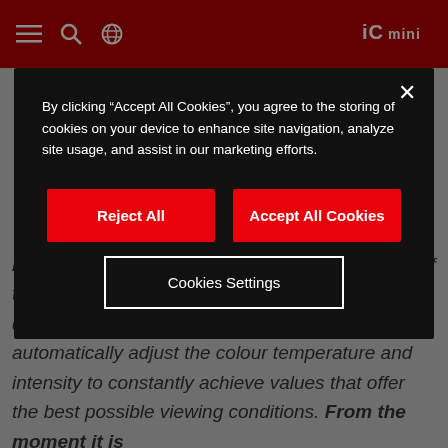[Figure (screenshot): Red website header bar with hamburger menu icon, search icon, globe icon on the left, and a logo on the right]
both the visual experience and the conservation of the paintings, as the artificial light will interact dynamically with the natural light and automatically adjust the colour temperature and intensity to constantly achieve values that offer the best possible viewing conditions. From the moment it is
By clicking “Accept All Cookies”, you agree to the storing of cookies on your device to enhance site navigation, analyze site usage, and assist in our marketing efforts.
Reject All
Accept All Cookies
Cookies Settings